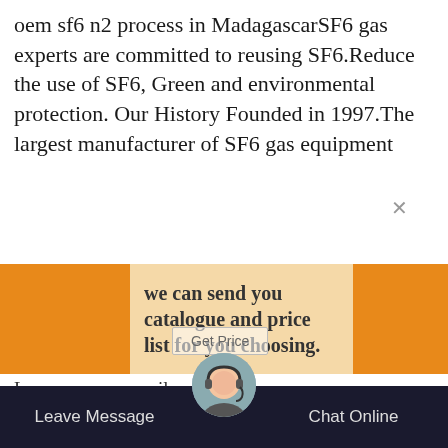oem sf6 n2 process in MadagascarSF6 gas experts are committed to reusing SF6.Reduce the use of SF6, Green and environmental protection. Our History Founded in 1997.The largest manufacturer of SF6 gas equipment
we can send you catalogue and price list for you choosing.
Get Price
Leave us your email or whatsapp .
[Figure (screenshot): Chat widget overlay on industrial background photo showing an ISUZU truck and electrical equipment. SF6 Expert chat message shows 'just now'. Reply box with 'Write a reply..' placeholder. Green circular chat button with badge showing '1'. Orange scroll-up arrow button.]
SF6 Expert    just now
Write a reply..
Leave Message
Chat Online